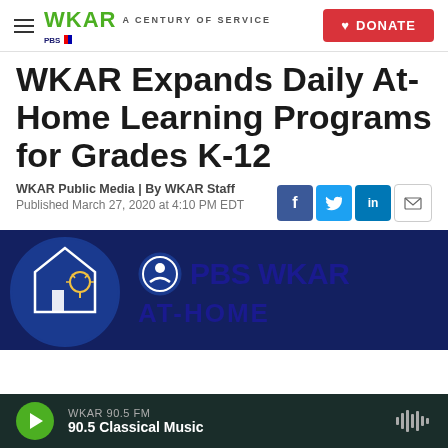WKAR A CENTURY OF SERVICE | DONATE
WKAR Expands Daily At-Home Learning Programs for Grades K-12
WKAR Public Media | By WKAR Staff
Published March 27, 2020 at 4:10 PM EDT
[Figure (photo): PBS WKAR At-Home learning logo with circular icon showing a house and lightbulb on dark blue background]
WKAR 90.5 FM | 90.5 Classical Music